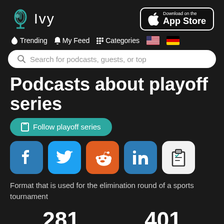[Figure (logo): Ivy podcast app logo with microphone icon and 'Ivy' text, plus App Store download badge]
🔥 Trending  🔔 My Feed  ⚙ Categories  🇺🇸 🇩🇪
Search for podcasts, guests, or top
Podcasts about playoff series
Follow playoff series
[Figure (infographic): Social share buttons: Facebook, Twitter, Reddit, LinkedIn, Clipboard]
Format that is used for the elimination round of a sports tournament
281  401